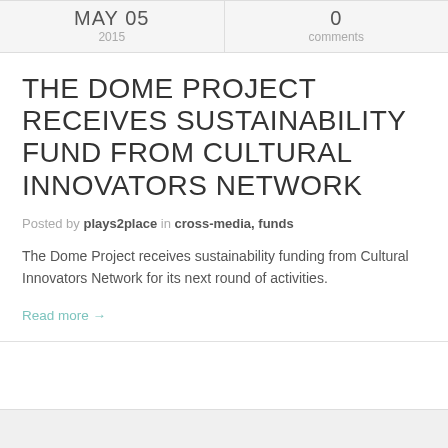MAY 05
2015
0
comments
THE DOME PROJECT RECEIVES SUSTAINABILITY FUND FROM CULTURAL INNOVATORS NETWORK
Posted by plays2place in cross-media, funds
The Dome Project receives sustainability funding from Cultural Innovators Network for its next round of activities.
Read more →